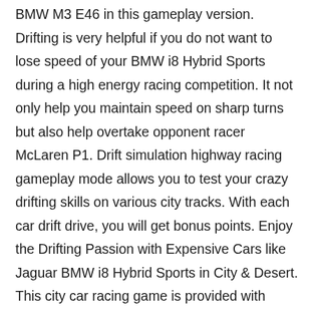BMW M3 E46 in this gameplay version. Drifting is very helpful if you do not want to lose speed of your BMW i8 Hybrid Sports during a high energy racing competition. It not only help you maintain speed on sharp turns but also help overtake opponent racer McLaren P1. Drift simulation highway racing gameplay mode allows you to test your crazy drifting skills on various city tracks. With each car drift drive, you will get bonus points. Enjoy the Drifting Passion with Expensive Cars like Jaguar BMW i8 Hybrid Sports in City & Desert. This city car racing game is provided with interesting HD graphics and realistic sound effects. Enjoy this improved car drift physics In-Vehicle Control driving game with the best than ever racing game features. Real motor sounds of BMW i8 Hybrid Sports give you the feeling of an actual racing drive of McLaren P1 with easy and realistic driving experience. In-Vehicle Controls with forward and reverse gears adds more flexibility in driving mechanism. Other excellent